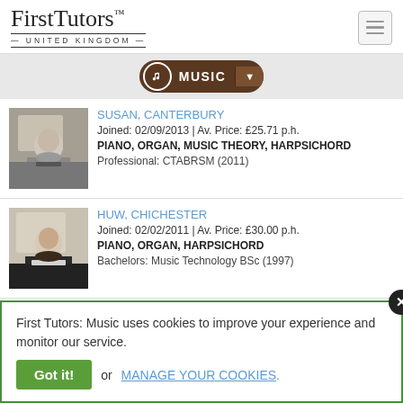[Figure (logo): First Tutors United Kingdom logo]
[Figure (infographic): Music category pill with musical note icon and dropdown arrow]
SUSAN, CANTERBURY
Joined: 02/09/2013 | Av. Price: £25.71 p.h.
PIANO, ORGAN, MUSIC THEORY, HARPSICHORD
Professional: CTABRSM (2011)
[Figure (photo): Black and white photo of Susan, a tutor, at a piano]
HUW, CHICHESTER
Joined: 02/02/2011 | Av. Price: £30.00 p.h.
PIANO, ORGAN, HARPSICHORD
Bachelors: Music Technology BSc (1997)
[Figure (photo): Color photo of Huw, a tutor, at a piano]
First Tutors: Music uses cookies to improve your experience and monitor our service.
Got it! or MANAGE YOUR COOKIES.